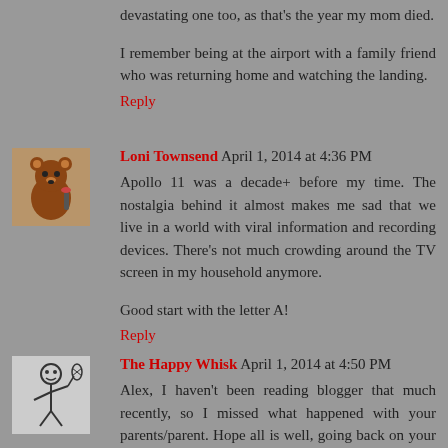devastating one too, as that's the year my mom died.
I remember being at the airport with a family friend who was returning home and watching the landing.
Reply
Loni Townsend  April 1, 2014 at 4:36 PM
Apollo 11 was a decade+ before my time. The nostalgia behind it almost makes me sad that we live in a world with viral information and recording devices. There's not much crowding around the TV screen in my household anymore.
Good start with the letter A!
Reply
[Figure (illustration): Small avatar image of a cartoon bear character holding something, brown colored]
The Happy Whisk  April 1, 2014 at 4:50 PM
Alex, I haven't been reading blogger that much recently, so I missed what happened with your parents/parent. Hope all is well, going back on your other posts to catch-up.
[Figure (illustration): Small avatar image of a stick figure character holding a whisk]